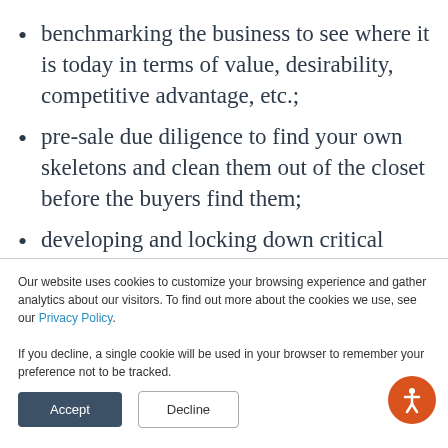benchmarking the business to see where it is today in terms of value, desirability, competitive advantage, etc.;
pre-sale due diligence to find your own skeletons and clean them out of the closet before the buyers find them;
developing and locking down critical
Our website uses cookies to customize your browsing experience and gather analytics about our visitors. To find out more about the cookies we use, see our Privacy Policy.

If you decline, a single cookie will be used in your browser to remember your preference not to be tracked.